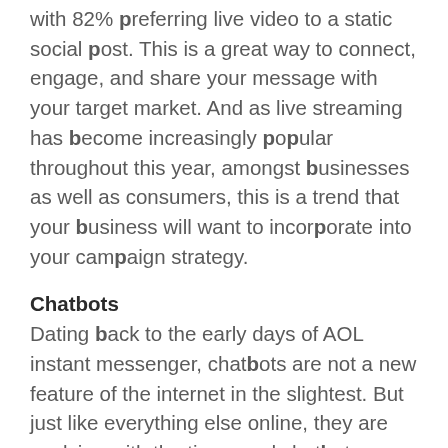with 82% preferring live video to a static social post. This is a great way to connect, engage, and share your message with your target market. And as live streaming has become increasingly popular throughout this year, amongst businesses as well as consumers, this is a trend that your business will want to incorporate into your campaign strategy.
Chatbots
Dating back to the early days of AOL instant messenger, chatbots are not a new feature of the internet in the slightest. But just like everything else online, they are evolving with the times and chatbots are now being integrated with social media